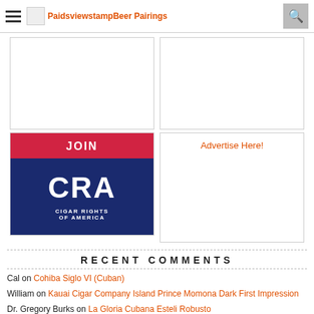PaidsviewstampBeer Pairings
[Figure (logo): JOIN CRA Cigar Rights of America advertisement banner]
Advertise Here!
RECENT COMMENTS
Cal on Cohiba Siglo VI (Cuban)
William on Kauai Cigar Company Island Prince Momona Dark First Impression
Dr. Gregory Burks on La Gloria Cubana Esteli Robusto
Tony Casas on The Crowned Heads Four Kicks Capa Especial
David Williams on Jaromirski & Co. Sublimes